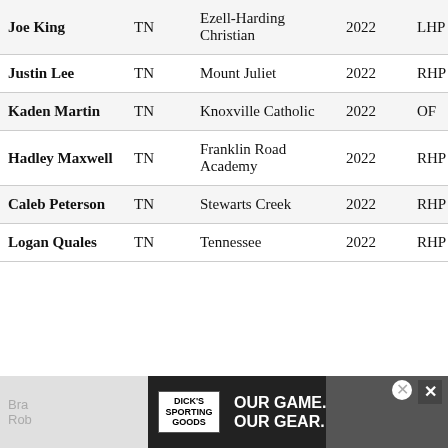| Name | State | School | Year | Pos | Val |
| --- | --- | --- | --- | --- | --- |
| Joe King | TN | Ezell-Harding Christian | 2022 | LHP | Va |
| Justin Lee | TN | Mount Juliet | 2022 | RHP | - |
| Kaden Martin | TN | Knoxville Catholic | 2022 | OF | - |
| Hadley Maxwell | TN | Franklin Road Academy | 2022 | RHP | - |
| Caleb Peterson | TN | Stewarts Creek | 2022 | RHP | - |
| Logan Quales | TN | Tennessee | 2022 | RHP | - |
[Figure (photo): Dick's Sporting Goods advertisement banner at bottom of page. Shows 'OUR GAME. OUR GEAR.' slogan with SHOP NOW button and a baseball player image. Ad has close buttons.]